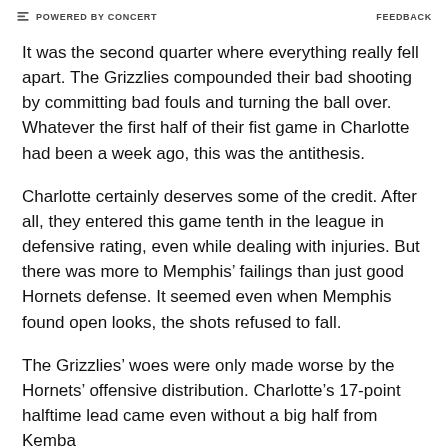POWERED BY CONCERT   FEEDBACK
It was the second quarter where everything really fell apart. The Grizzlies compounded their bad shooting by committing bad fouls and turning the ball over. Whatever the first half of their fist game in Charlotte had been a week ago, this was the antithesis.
Charlotte certainly deserves some of the credit. After all, they entered this game tenth in the league in defensive rating, even while dealing with injuries. But there was more to Memphis’ failings than just good Hornets defense. It seemed even when Memphis found open looks, the shots refused to fall.
The Grizzlies’ woes were only made worse by the Hornets’ offensive distribution. Charlotte’s 17-point halftime lead came even without a big half from Kemba